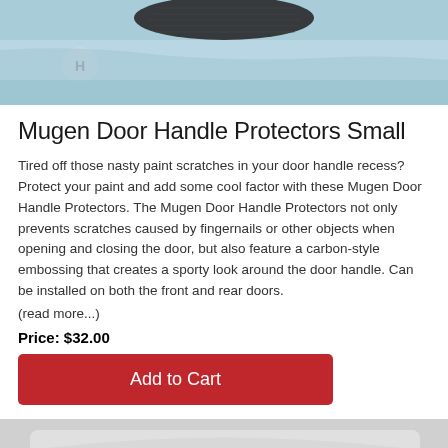[Figure (photo): Close-up photo of a car door handle area with a carbon-style protector, light blue car paint visible]
Mugen Door Handle Protectors Small
Tired off those nasty paint scratches in your door handle recess? Protect your paint and add some cool factor with these Mugen Door Handle Protectors. The Mugen Door Handle Protectors not only prevents scratches caused by fingernails or other objects when opening and closing the door, but also feature a carbon-style embossing that creates a sporty look around the door handle. Can be installed on both the front and rear doors.
(read more...)
Price: $32.00
Add to Cart
[Figure (photo): Front view of a Honda Civic showing the grille and headlights, silver/white car on grey background]